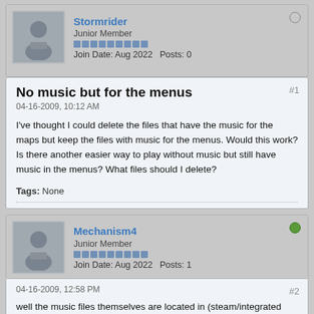Stormrider
Junior Member
Join Date: Aug 2022  Posts: 0
No music but for the menus
04-16-2009, 10:12 AM
I've thought I could delete the files that have the music for the maps but keep the files with music for the menus. Would this work? Is there another easier way to play without music but still have music in the menus? What files should I delete?
Tags: None
Mechanism4
Junior Member
Join Date: Aug 2022  Posts: 1
04-16-2009, 12:58 PM
well the music files themselves are located in (steam/integrated copy)